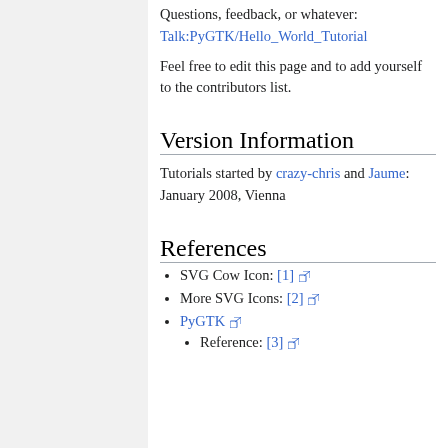Questions, feedback, or whatever: Talk:PyGTK/Hello_World_Tutorial
Feel free to edit this page and to add yourself to the contributors list.
Version Information
Tutorials started by crazy-chris and Jaume: January 2008, Vienna
References
SVG Cow Icon: [1]
More SVG Icons: [2]
PyGTK
Reference: [3]